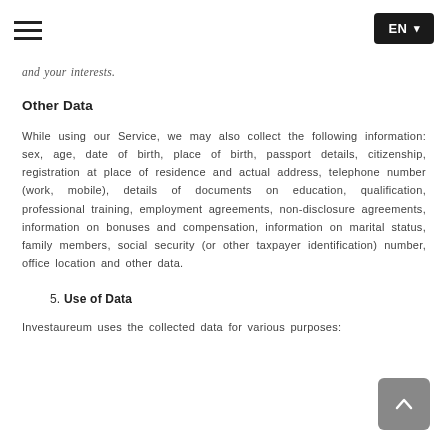EN
and your interests.
Other Data
While using our Service, we may also collect the following information: sex, age, date of birth, place of birth, passport details, citizenship, registration at place of residence and actual address, telephone number (work, mobile), details of documents on education, qualification, professional training, employment agreements, non-disclosure agreements, information on bonuses and compensation, information on marital status, family members, social security (or other taxpayer identification) number, office location and other data.
5. Use of Data
Investaureum uses the collected data for various purposes: